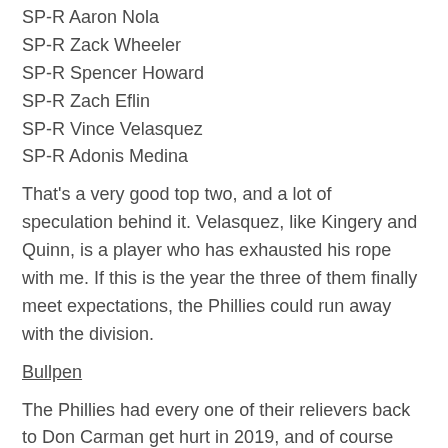SP-R Aaron Nola
SP-R Zack Wheeler
SP-R Spencer Howard
SP-R Zach Eflin
SP-R Vince Velasquez
SP-R Adonis Medina
That's a very good top two, and a lot of speculation behind it. Velasquez, like Kingery and Quinn, is a player who has exhausted his rope with me. If this is the year the three of them finally meet expectations, the Phillies could run away with the division.
Bullpen
The Phillies had every one of their relievers back to Don Carman get hurt in 2019, and of course 2020 was far too short to evaluate individuals. Hector Neris will be here; the next four Phillies relievers in 2020, by appearances, are all free agents. Check back in February.
This is a much different job for the new employee.